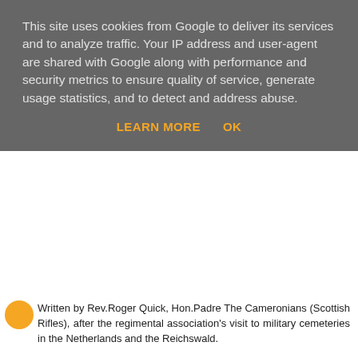This site uses cookies from Google to deliver its services and to analyze traffic. Your IP address and user-agent are shared with Google along with performance and security metrics to ensure quality of service, generate usage statistics, and to detect and address abuse.
LEARN MORE   OK
Written by Rev.Roger Quick, Hon.Padre The Cameronians (Scottish Rifles), after the regimental association's visit to military cemeteries in the Netherlands and the Reichswald.
We will
Remember? Yes, we will remember them,
We who have watched them go down with the sun.
And in the morning, seeing them gone
We will cease remembering and live.
As they would have lived
And longed to lay to rest at last
The sheer bloody waste of it all.